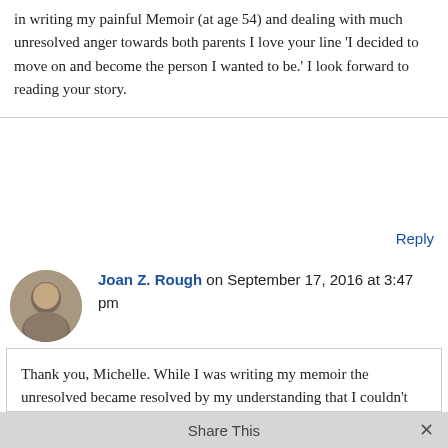in writing my painful Memoir (at age 54) and dealing with much unresolved anger towards both parents I love your line 'I decided to move on and become the person I wanted to be.' I look forward to reading your story.
Reply
Joan Z. Rough on September 17, 2016 at 3:47 pm
Thank you, Michelle. While I was writing my memoir the unresolved became resolved by my understanding that I couldn't change my story or my parents. I had to let go of blame and accept what I had been given.
I hope your writing gets easier for you.
Share This